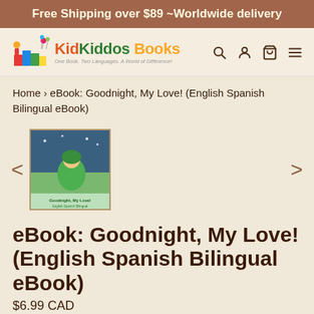Free Shipping over $89 ~Worldwide delivery
[Figure (logo): KidKiddos Books logo with cartoon children and colorful books, tagline: One Book. Two Languages. A World of Difference!]
Home › eBook: Goodnight, My Love! (English Spanish Bilingual eBook)
[Figure (photo): Book cover thumbnail for 'Goodnight, My Love!' showing a child sleeping, English Spanish bilingual eBook]
eBook: Goodnight, My Love! (English Spanish Bilingual eBook)
$6.99 CAD